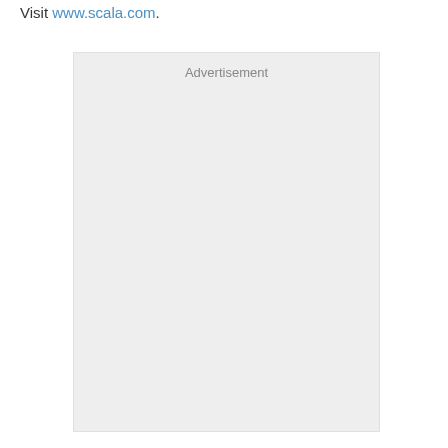Visit www.scala.com.
[Figure (other): Advertisement placeholder box with light gray background and the label 'Advertisement' centered near the top.]